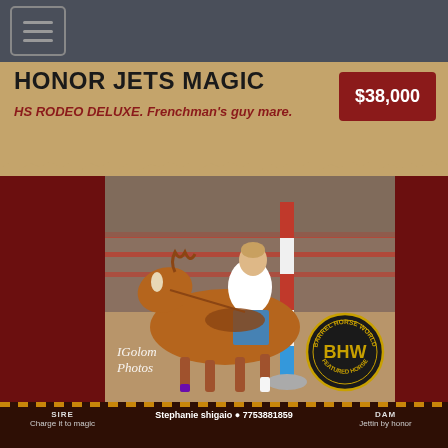Navigation menu
HONOR JETS MAGIC
HS RODEO DELUXE. Frenchman's guy mare.
$38,000
[Figure (photo): Barrel racing horse and rider navigating around a pole in an indoor arena. Chestnut horse leaning hard into a turn. JGolom Photos watermark. BHW Featured Horse badge in bottom right corner.]
SIRE
Charge it to magic
Stephanie shigaio • 7753881859
DAM
Jettin by honor